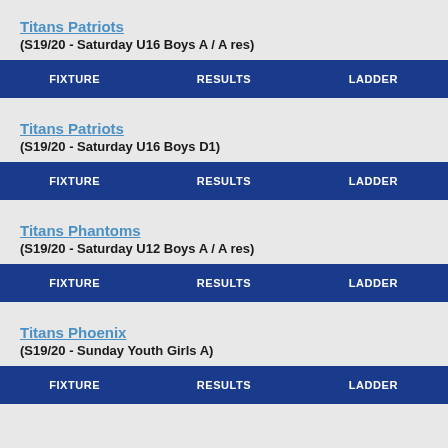Titans Patriots
(S19/20 - Saturday U16 Boys A / A res)
| FIXTURE | RESULTS | LADDER |
| --- | --- | --- |
Titans Patriots
(S19/20 - Saturday U16 Boys D1)
| FIXTURE | RESULTS | LADDER |
| --- | --- | --- |
Titans Phantoms
(S19/20 - Saturday U12 Boys A / A res)
| FIXTURE | RESULTS | LADDER |
| --- | --- | --- |
Titans Phoenix
(S19/20 - Sunday Youth Girls A)
| FIXTURE | RESULTS | LADDER |
| --- | --- | --- |